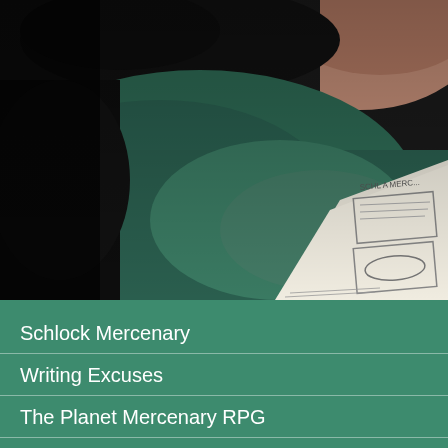[Figure (photo): A person lying down reading or looking at what appears to be a comic strip or storyboard paper. The image is dark with teal/dark green tones, showing the person's head/face from above and a hand-drawn comic page visible in the lower right.]
Schlock Mercenary
Writing Excuses
The Planet Mercenary RPG